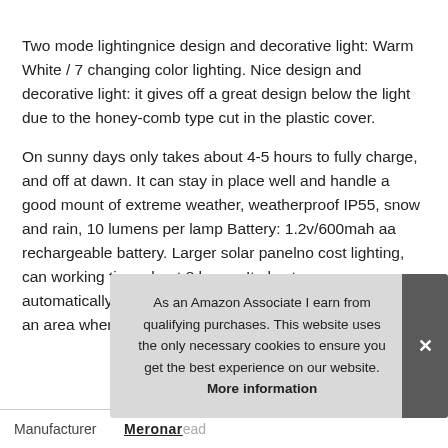Two mode lightingnice design and decorative light: Warm White / 7 changing color lighting. Nice design and decorative light: it gives off a great design below the light due to the honey-comb type cut in the plastic cover.
On sunny days only takes about 4-5 hours to fully charge, and off at dawn. It can stay in place well and handle a good mount of extreme weather, weatherproof IP55, snow and rain, 10 lumens per lamp Battery: 1.2v/600mah aa rechargeable battery. Larger solar panelno cost lighting, can working time about 8 hours. It also turns on automatically at dusk, powered by the Sun. Just set it up in an area where it will receive plenty of s
As an Amazon Associate I earn from qualifying purchases. This website uses the only necessary cookies to ensure you get the best experience on our website. More information
| Manufacturer |  |
| --- | --- |
| Manufacturer | Meronar |